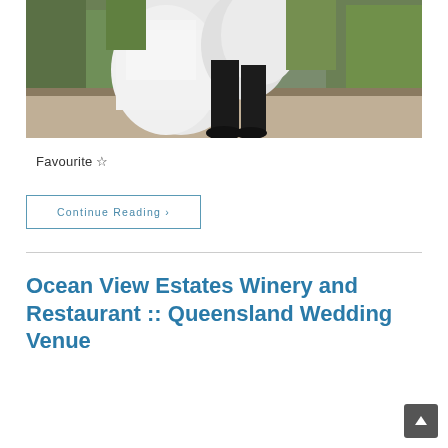[Figure (photo): Wedding photo showing lower half of bride in white dress and groom in black trousers and shoes, walking on a path with greenery in the background]
Favourite ☆
Continue Reading ›
Ocean View Estates Winery and Restaurant :: Queensland Wedding Venue